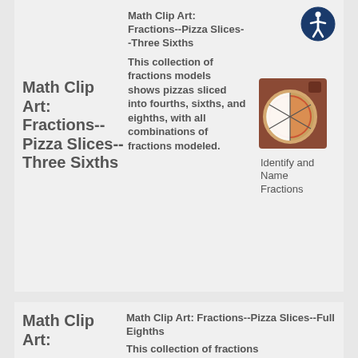Math Clip Art: Fractions--Pizza Slices--Three Sixths
Math Clip Art: Fractions--Pizza Slices--Three Sixths
This collection of fractions models shows pizzas sliced into fourths, sixths, and eighths, with all combinations of fractions modeled.
[Figure (photo): Pizza with three sixths (half) shown as white slices on a round pizza with toppings, on a brown/rust colored background with a small dish]
Identify and Name Fractions
Math Clip Art: Fractions--Pizza Slices--Full Eighths
Math Clip Art: Fractions--Pizza Slices--Full Eighths
This collection of fractions